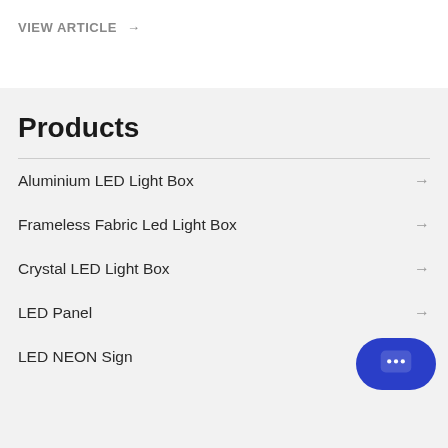VIEW ARTICLE →
Products
Aluminium LED Light Box →
Frameless Fabric Led Light Box →
Crystal LED Light Box →
LED Panel →
LED NEON Sign →